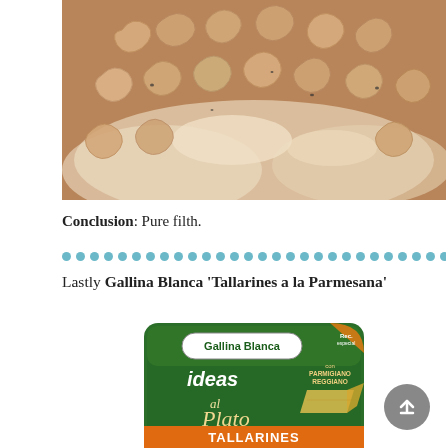[Figure (photo): Close-up photo of cooked pasta (fusilli/rotini) in a creamy white sauce, macro shot showing the texture of the pasta pieces]
Conclusion: Pure filth.
Lastly Gallina Blanca 'Tallarines a la Parmesana'
[Figure (photo): Product packaging photo of Gallina Blanca 'Ideas al Plato' pasta seasoning package, green packaging with Parmigiano Reggiano branding, labeled TALLARINES at the bottom]